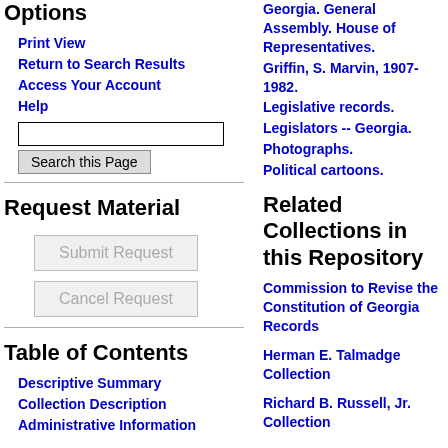Options
Print View
Return to Search Results
Access Your Account
Help
Request Material
Table of Contents
Descriptive Summary
Collection Description
Administrative Information
Georgia. General Assembly. House of Representatives.
Griffin, S. Marvin, 1907-1982.
Legislative records.
Legislators -- Georgia.
Photographs.
Political cartoons.
Related Collections in this Repository
Commission to Revise the Constitution of Georgia Records
Herman E. Talmadge Collection
Richard B. Russell, Jr. Collection
Related Collections in Other Repositories
Georgia Government Documentation Project